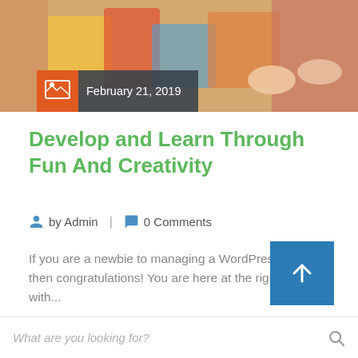[Figure (photo): Hero image of children with colorful objects, with a date bar overlay showing February 21, 2019 with an orange icon box and dark gray background]
Develop and Learn Through Fun And Creativity
by Admin   |   0 Comments
If you are a newbie to managing a WordPress website, then congratulations! You are here at the right track with...
[Figure (other): Blue back-to-top button with upward arrow]
What are you looking for?